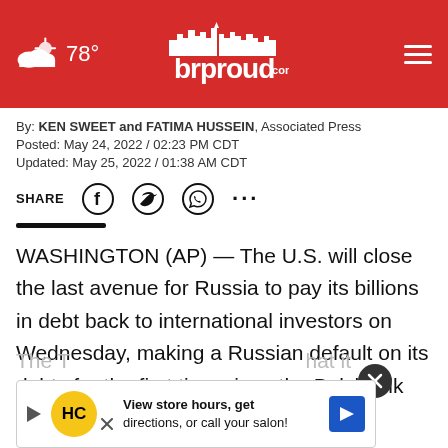78° brproud.com
By: KEN SWEET and FATIMA HUSSEIN, Associated Press
Posted: May 24, 2022 / 02:23 PM CDT
Updated: May 25, 2022 / 01:38 AM CDT
SHARE
WASHINGTON (AP) — The U.S. will close the last avenue for Russia to pay its billions in debt back to international investors on Wednesday, making a Russian default on its debts for the first time since the Bolshevik Revolution all but inevitable.
The T... hat it ...
[Figure (other): Advertisement banner: View store hours, get directions, or call your salon!]